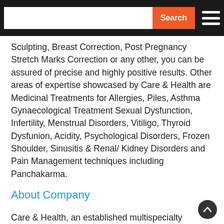Search [search bar with hamburger menu]
Sculpting, Breast Correction, Post Pregnancy Stretch Marks Correction or any other, you can be assured of precise and highly positive results. Other areas of expertise showcased by Care & Health are Medicinal Treatments for Allergies, Piles, Asthma Gynaecological Treatment Sexual Dysfunction, Infertility, Menstrual Disorders, Vitiligo, Thyroid Dysfunion, Acidity, Psychological Disorders, Frozen Shoulder, Sinusitis & Renal/ Kidney Disorders and Pain Management techniques including Panchakarma.
About Company
Care & Health, an established multispecialty wellness clinic in Kolkata, offers you a holistic assortment of hair, skin and bodily services that are fantastic in quality and affordability. Their packages include a wide array of Treatments, Nutrition, Dietary Modifications, Tips, Cooking